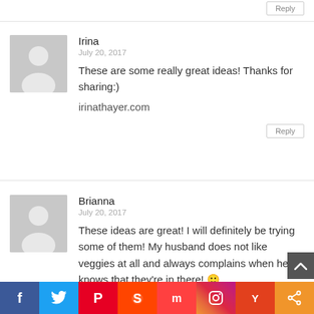Reply
Irina
July 20, 2017
These are some really great ideas! Thanks for sharing:)
irinathayer.com
Reply
Brianna
July 20, 2017
These ideas are great! I will definitely be trying some of them! My husband does not like veggies at all and always complains when he knows that they're in there! 🙂
[Figure (infographic): Social share bar with icons: Facebook (blue), Twitter (light blue), Pinterest (red), Reddit (orange-red), Mix (red), Instagram (gradient purple-orange), Yummly (red-orange), Share (orange)]